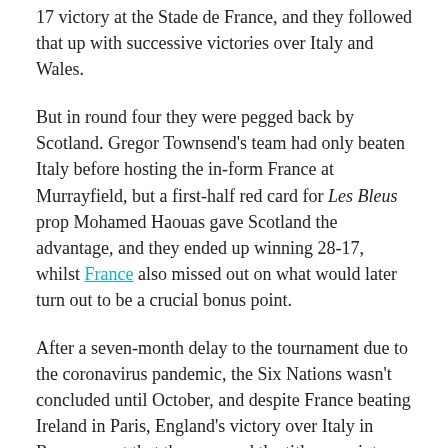17 victory at the Stade de France, and they followed that up with successive victories over Italy and Wales.
But in round four they were pegged back by Scotland. Gregor Townsend's team had only beaten Italy before hosting the in-form France at Murrayfield, but a first-half red card for Les Bleus prop Mohamed Haouas gave Scotland the advantage, and they ended up winning 28-17, whilst France also missed out on what would later turn out to be a crucial bonus point.
After a seven-month delay to the tournament due to the coronavirus pandemic, the Six Nations wasn't concluded until October, and despite France beating Ireland in Paris, England's victory over Italy in Rome meant that they secured the title on points difference.
With this year's Championship now just around the corner, France are just behind favourites England in the 2021 Six Nations odds, but given their performances in last year's